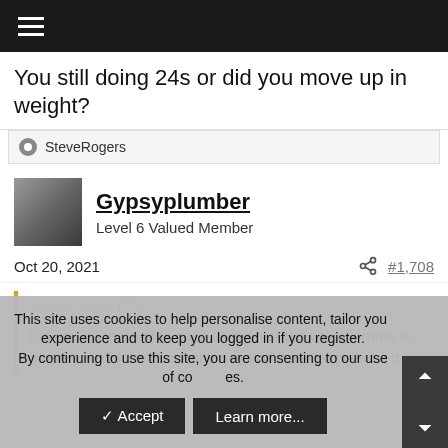☰ (navigation menu)
You still doing 24s or did you move up in weight?
SteveRogers
Gypsyplumber
Level 6 Valued Member
Oct 20, 2021   #1,708
mikhou said:
Did you do that within each session or did you alternate to where you did the Giant one day and then did pull-ups the
This site uses cookies to help personalise content, tailor your experience and to keep you logged in if you register.
By continuing to use this site, you are consenting to our use of cookies.